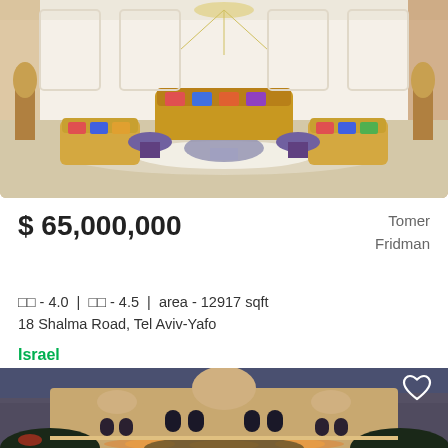[Figure (photo): Interior of a luxurious living room with gold ornate furniture, colorful cushions, marble floor, and chandelier]
$ 65,000,000
Tomer Fridman
□□ - 4.0 | □□ - 4.5 | area - 12917 sqft
18 Shalma Road, Tel Aviv-Yafo
Israel
[Figure (photo): Exterior of a Middle-Eastern style mansion at night, illuminated, with dome and arched windows]